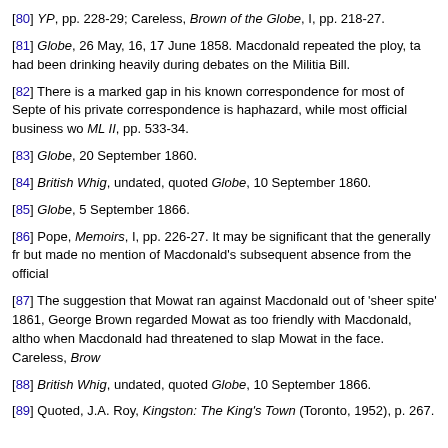[80] YP, pp. 228-29; Careless, Brown of the Globe, I, pp. 218-27.
[81] Globe, 26 May, 16, 17 June 1858. Macdonald repeated the ploy, ta had been drinking heavily during debates on the Militia Bill.
[82] There is a marked gap in his known correspondence for most of Septe of his private correspondence is haphazard, while most official business wo ML II, pp. 533-34.
[83] Globe, 20 September 1860.
[84] British Whig, undated, quoted Globe, 10 September 1860.
[85] Globe, 5 September 1866.
[86] Pope, Memoirs, I, pp. 226-27. It may be significant that the generally fr but made no mention of Macdonald's subsequent absence from the official
[87] The suggestion that Mowat ran against Macdonald out of 'sheer spite' 1861, George Brown regarded Mowat as too friendly with Macdonald, altho when Macdonald had threatened to slap Mowat in the face. Careless, Brow
[88] British Whig, undated, quoted Globe, 10 September 1866.
[89] Quoted, J.A. Roy, Kingston: The King's Town (Toronto, 1952), p. 267.